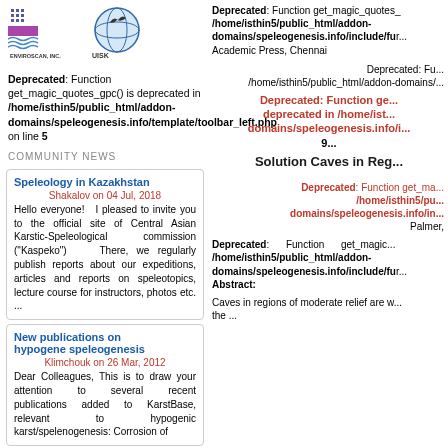[Figure (logo): Enviroscan Inc. logo with wavy lines and text]
[Figure (logo): UISK logo with bird/globe graphic]
Deprecated: Function get_magic_quotes_gpc() is deprecated in /home/isthin5/public_html/addon-domains/speleogenesis.info/template/toolbar_left.php on line 5
COMMUNITY NEWS
Speleology in Kazakhstan
Shakalov on 04 Jul, 2018
Hello everyone! I pleased to invite you to the official site of Central Asian Karstic-Speleological commission ("Kaspeko") There, we regularly publish reports about our expeditions, articles and reports on speleotopics, lecture course for instructors, photos etc. ...
New publications on hypogene speleogenesis
Klimchouk on 26 Mar, 2012
Dear Colleagues, This is to draw your attention to several recent publications added to KarstBase, relevant to hypogenic karst/spelenogenesis: Corrosion of
Deprecated: Function get_magic_quotes_gpc() is deprecated in /home/isthin5/public_html/addon-domains/speleogenesis.info/include/fu... Academic Press, Chennai
Deprecated: Fu... /home/isthin5/public_html/addon-domains/...
Deprecated: Function ge... deprecated in /home/ist... domains/speleogenesis.info/i... 9... Solution Caves in Reg...
Deprecated: Function get_ma... /home/isthin5/pu... domains/speleogenesis.info/in... Palmer,
Deprecated: Function get_magic... /home/isthin5/public_html/addon-domains/speleogenesis.info/include/fu... Abstract:
Caves in regions of moderate relief are w... the ...